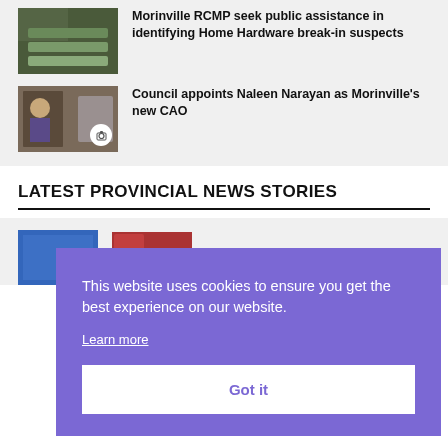[Figure (photo): Thumbnail image showing green objects, likely the Home Hardware break-in story]
Morinville RCMP seek public assistance in identifying Home Hardware break-in suspects
[Figure (photo): Thumbnail image showing a building exterior and person for council story, with camera icon overlay]
Council appoints Naleen Narayan as Morinville's new CAO
LATEST PROVINCIAL NEWS STORIES
[Figure (screenshot): Cookie consent banner overlay in purple/violet color with text about cookies]
This website uses cookies to ensure you get the best experience on our website.
Learn more
Got it
[Figure (photo): Thumbnail image blue background for provincial news story]
First of September declared Alberta Day